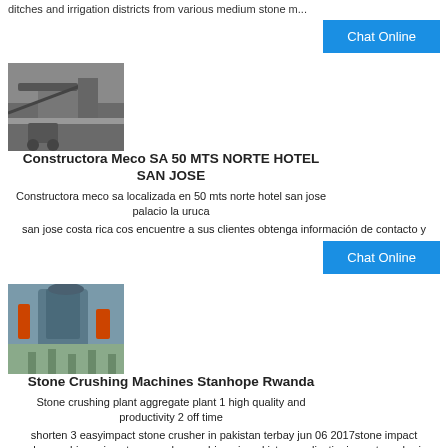ditches and irrigation districts from various medium stone m...
Chat Online
[Figure (photo): Excavator working at a stone/aggregate site with conveyor belt]
Constructora Meco SA 50 MTS NORTE HOTEL SAN JOSE
Constructora meco sa localizada en 50 mts norte hotel san jose palacio la uruca san jose costa rica cos encuentre a sus clientes obtenga información de contacto y
Chat Online
[Figure (photo): Industrial stone crushing machine/mill in a factory setting]
Stone Crushing Machines Stanhope Rwanda
Stone crushing plant aggregate plant 1 high quality and productivity 2 off time shorten 3 easyimpact stone crusher in pakistan terbay jun 06 2017stone impact crushermachine price stone crushermachineryin pakistan applicationimpact crusheris a machine which break materials using theimpactenergy impact crushersare most often